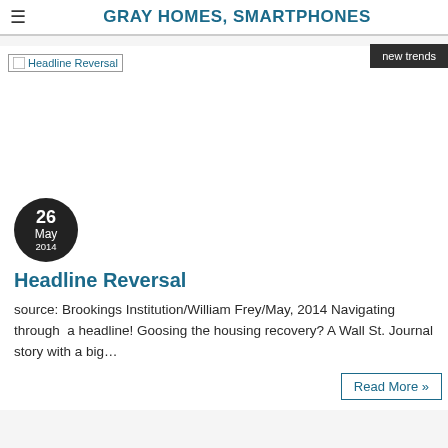GRAY HOMES, SMARTPHONES
new trends
[Figure (photo): Image placeholder labeled 'Headline Reversal']
26 May 2014
Headline Reversal
source: Brookings Institution/William Frey/May, 2014 Navigating through  a headline! Goosing the housing recovery? A Wall St. Journal story with a big…
Read More »